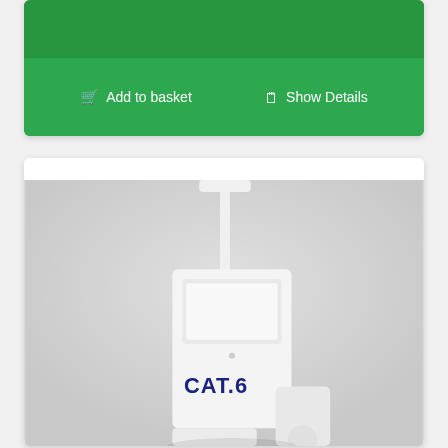[Figure (screenshot): Green card UI element with 'Add to basket' and 'Show Details' buttons on a light grey background]
Add to basket
Show Details
[Figure (photo): Product photo showing a white CAT.6 network device with an antenna on a grey background]